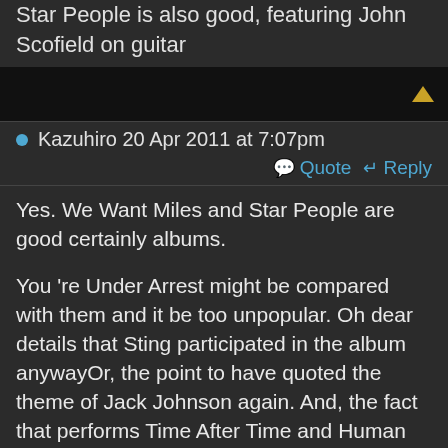Star People is also good, featuring John Scofield on guitar
Kazuhiro 20 Apr 2011 at 7:07pm
Quote  Reply
Yes. We Want Miles and Star People are good certainly albums.

You 're Under Arrest might be compared with them and it be too unpopular. Oh dear details that Sting participated in the album anywayOr, the point to have quoted the theme of Jack Johnson again. And, the fact that performs Time After Time and Human Nature might be evidence that Miles Davis at least admitted those tunes.